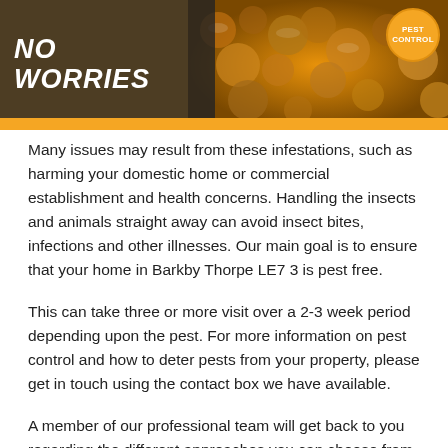[Figure (photo): Banner image with text 'NO WORRIES' on dark overlay background, bee/honeycomb photo on right, orange stripe, pest control circular badge]
Many issues may result from these infestations, such as harming your domestic home or commercial establishment and health concerns. Handling the insects and animals straight away can avoid insect bites, infections and other illnesses. Our main goal is to ensure that your home in Barkby Thorpe LE7 3 is pest free.
This can take three or more visit over a 2-3 week period depending upon the pest. For more information on pest control and how to deter pests from your property, please get in touch using the contact box we have available.
A member of our professional team will get back to you regarding the different approaches you can choose from and the best methods which we would suggest.
How to Get Rid of Pests in your Home
Many things could cause an infestation or pest problems in the home, whether from bugs on the building. There is someone in